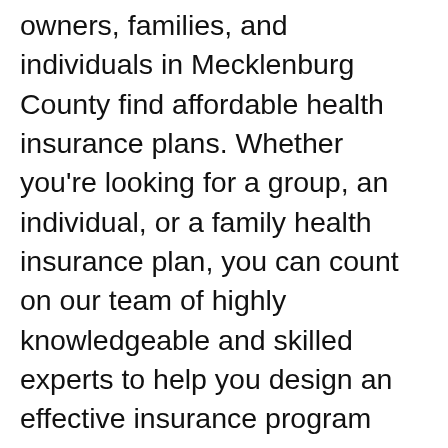owners, families, and individuals in Mecklenburg County find affordable health insurance plans. Whether you're looking for a group, an individual, or a family health insurance plan, you can count on our team of highly knowledgeable and skilled experts to help you design an effective insurance program that will be customized to meet your unique needs.
Our competitively-priced plans offer optimum protection; what's more, we make enrollment quick and easy. When you choose Health Insurance Advisors as your Huntersville, NC health insurance advisor, you can feel confident knowing that you'll find comprehensive, yet affordable health insurance for yourself, your